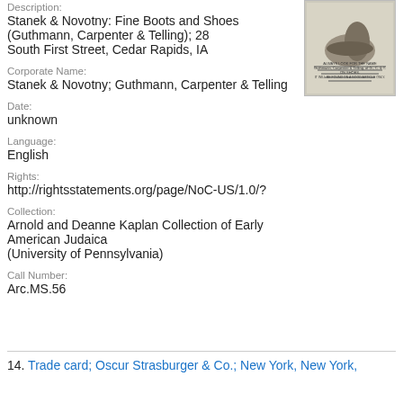Description:
Stanek & Novotny: Fine Boots and Shoes (Guthmann, Carpenter & Telling); 28 South First Street, Cedar Rapids, IA
[Figure (photo): Thumbnail image of trade card for boots and shoes with text mentioning Guthmann, Carpenter & Telling]
Corporate Name:
Stanek & Novotny; Guthmann, Carpenter & Telling
Date:
unknown
Language:
English
Rights:
http://rightsstatements.org/page/NoC-US/1.0/?
Collection:
Arnold and Deanne Kaplan Collection of Early American Judaica (University of Pennsylvania)
Call Number:
Arc.MS.56
14. Trade card; Oscur Strasburger & Co.; New York, New York,